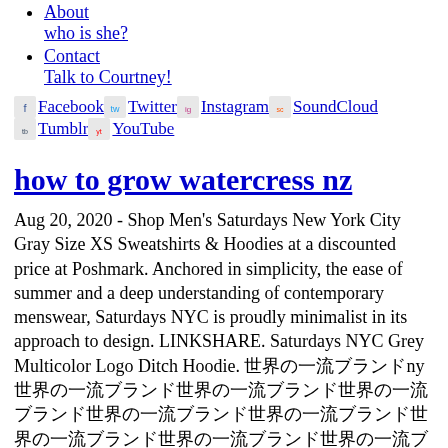About who is she?
Contact Talk to Courtney!
Facebook Twitter Instagram SoundCloud Tumblr YouTube
how to grow watercress nz
Aug 20, 2020 - Shop Men's Saturdays New York City Gray Size XS Sweatshirts & Hoodies at a discounted price at Poshmark. Anchored in simplicity, the ease of summer and a deep understanding of contemporary menswear, Saturdays NYC is proudly minimalist in its approach to design. LINKSHARE. Saturdays NYC Grey Multicolor Logo Ditch Hoodie. [CJK characters] ID da marca: M41929PT09. Saturdays NYC Rose New Short Sleeve Tee AUD $86.25. Description: Gently worn No holes or stains Open to offers Bundle Discounts Available. Willkommen im Saturdays NYC Shop auf Mybestbrands! 30% off. instruções de lavagem Lavar na máquina. $245. Love Saturdays NYC? Similar ones also available. See the Privacy Policy & the Cookie Policy. By continuing, you consent to our use of cookies. The ultra comfortable Saturdays NYC Logo